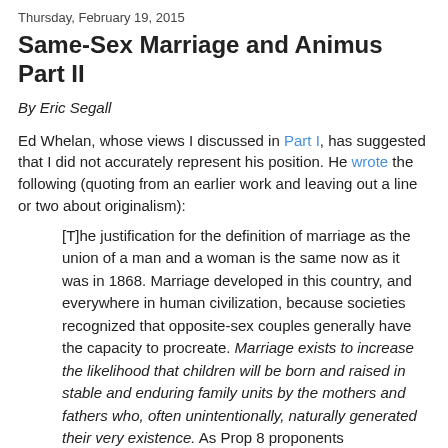Thursday, February 19, 2015
Same-Sex Marriage and Animus Part II
By Eric Segall
Ed Whelan, whose views I discussed in Part I, has suggested that I did not accurately represent his position. He wrote the following (quoting from an earlier work and leaving out a line or two about originalism):
[T]he justification for the definition of marriage as the union of a man and a woman is the same now as it was in 1868. Marriage developed in this country, and everywhere in human civilization, because societies recognized that opposite-sex couples generally have the capacity to procreate. Marriage exists to increase the likelihood that children will be born and raised in stable and enduring family units by the mothers and fathers who, often unintentionally, naturally generated their very existence. As Prop 8 proponents argued in the Supreme Court (slip op. at 37),